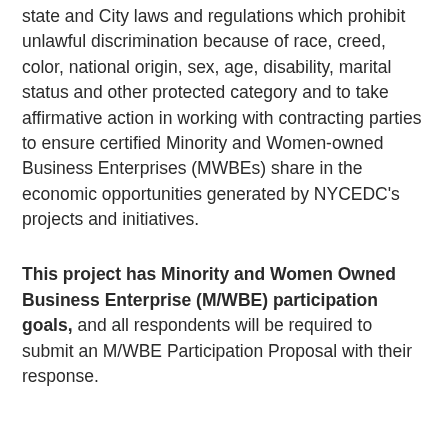state and City laws and regulations which prohibit unlawful discrimination because of race, creed, color, national origin, sex, age, disability, marital status and other protected category and to take affirmative action in working with contracting parties to ensure certified Minority and Women-owned Business Enterprises (MWBEs) share in the economic opportunities generated by NYCEDC's projects and initiatives.
This project has Minority and Women Owned Business Enterprise (M/WBE) participation goals, and all respondents will be required to submit an M/WBE Participation Proposal with their response.